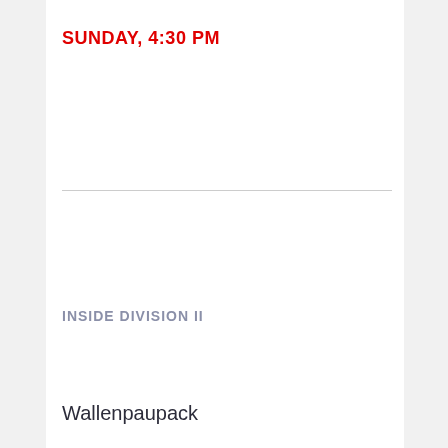SUNDAY, 4:30 PM
INSIDE DIVISION II
Wallenpaupack